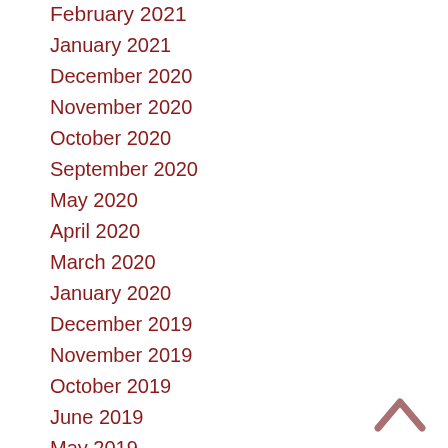February 2021
January 2021
December 2020
November 2020
October 2020
September 2020
May 2020
April 2020
March 2020
January 2020
December 2019
November 2019
October 2019
June 2019
May 2019
[Figure (other): Chevron up arrow icon for scrolling to top of page]